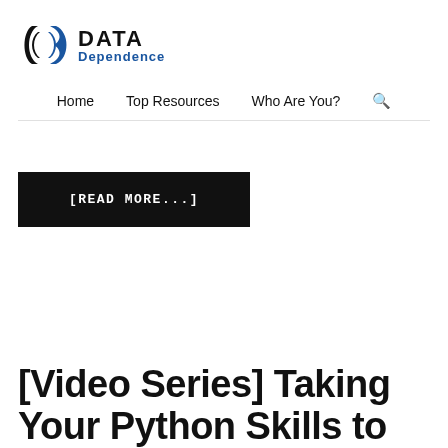[Figure (logo): Data Dependence logo with stylized D-C icon and blue 'Dependence' text]
Home   Top Resources   Who Are You?
[READ MORE...]
[Video Series] Taking Your Python Skills to